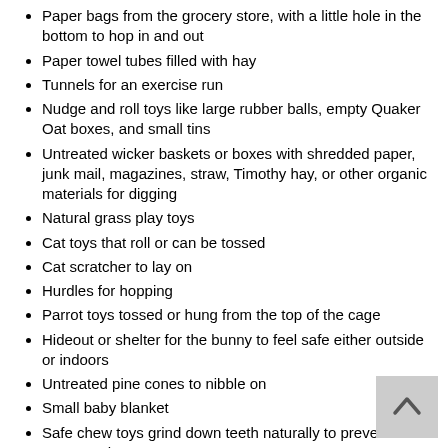Paper bags from the grocery store, with a little hole in the bottom to hop in and out
Paper towel tubes filled with hay
Tunnels for an exercise run
Nudge and roll toys like large rubber balls, empty Quaker Oat boxes, and small tins
Untreated wicker baskets or boxes with shredded paper, junk mail, magazines, straw, Timothy hay, or other organic materials for digging
Natural grass play toys
Cat toys that roll or can be tossed
Cat scratcher to lay on
Hurdles for hopping
Parrot toys tossed or hung from the top of the cage
Hideout or shelter for the bunny to feel safe either outside or indoors
Untreated pine cones to nibble on
Small baby blanket
Safe chew toys grind down teeth naturally to prevent overgrowth
Jungle gym-type toys
Hand towel for bunching and twisting